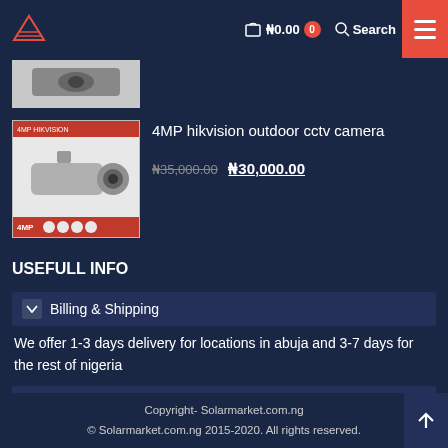₦0.00  0  Search
[Figure (photo): Partially visible product image at top of page (cropped)]
[Figure (photo): 4MP Hikvision outdoor CCTV camera product image showing a bullet-style security camera with 4MP rating badges]
4MP hikvision outdoor cctv camera
₦35,000.00 ₦30,000.00
USEFULL INFO
Billing & Shipping
We offer 1-3 days delivery for locations in abuja and 3-7 days for the rest of nigeria
Return policy
Contact
Copyright- Solarmarket.com.ng
© Solarmarket.com.ng 2015-2020. All rights reserved.